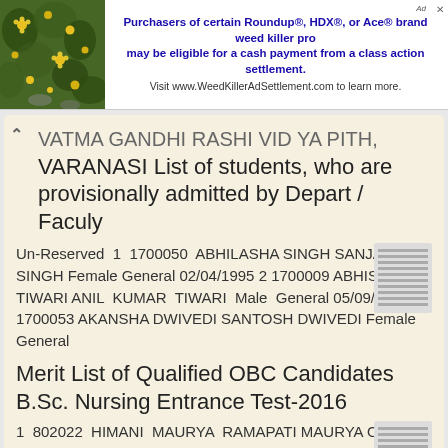[Figure (photo): Advertisement banner: photo of yellow flowers on left, ad text on right for Roundup/HDX/Ace brand weed killer class action settlement]
VATMA GANDHI RASHI VID YA PITH, VARANASI List of students, who are provisionally admitted by Depart / Faculy
Un-Reserved 1 1700050 ABHILASHA SINGH SANJAY SINGH Female General 02/04/1995 2 1700009 ABHISHEK TIWARI ANIL KUMAR TIWARI Male General 05/09/1994 3 1700053 AKANSHA DWIVEDI SANTOSH DWIVEDI Female General
More information →
Merit List of Qualified OBC Candidates B.Sc. Nursing Entrance Test-2016
1 802022 HIMANI MAURYA RAMAPATI MAURYA OBC 20/08/1993 296 1 2 804748 SONI VISHWAKARMA SANJAY